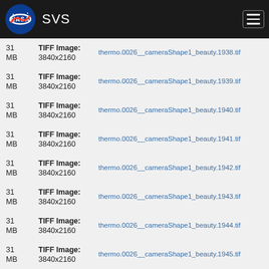NASA SVS
31 MB  TIFF Image: 3840x2160  thermo.0026__cameraShape1_beauty.1938.tif
31 MB  TIFF Image: 3840x2160  thermo.0026__cameraShape1_beauty.1939.tif
31 MB  TIFF Image: 3840x2160  thermo.0026__cameraShape1_beauty.1940.tif
31 MB  TIFF Image: 3840x2160  thermo.0026__cameraShape1_beauty.1941.tif
31 MB  TIFF Image: 3840x2160  thermo.0026__cameraShape1_beauty.1942.tif
31 MB  TIFF Image: 3840x2160  thermo.0026__cameraShape1_beauty.1943.tif
31 MB  TIFF Image: 3840x2160  thermo.0026__cameraShape1_beauty.1944.tif
31 MB  TIFF Image: 3840x2160  thermo.0026__cameraShape1_beauty.1945.tif
31 MB  TIFF Image: 3840x2160  thermo.0026__cameraShape1_beauty.1946.tif
31 MB  TIFF Image: 3840x2160  thermo.0026__cameraShape1_beauty.1947.tif